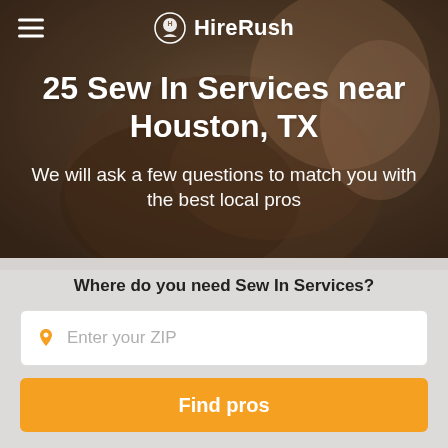HireRush
25 Sew In Services near Houston, TX
We will ask a few questions to match you with the best local pros
Where do you need Sew In Services?
Enter your ZIP
Find pros